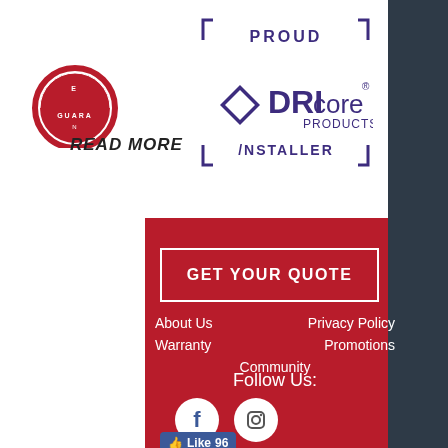[Figure (logo): Partial circular badge/guarantee seal (red/white) at top left]
[Figure (logo): DRIcore Products Installer logo — purple bracket frame with diamond icon, text PROUD DRIcore PRODUCTS INSTALLER]
READ MORE
[Figure (other): Red background footer section containing navigation links, Follow Us heading, Facebook and Instagram circular icons, and a Facebook Like button showing 96 likes]
GET YOUR QUOTE
About Us
Privacy Policy
Warranty
Promotions
Community
Follow Us:
Like 96